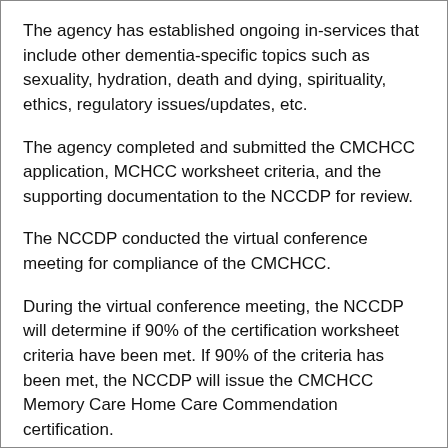The agency has established ongoing in-services that include other dementia-specific topics such as sexuality, hydration, death and dying, spirituality, ethics, regulatory issues/updates, etc.
The agency completed and submitted the CMCHCC application, MCHCC worksheet criteria, and the supporting documentation to the NCCDP for review.
The NCCDP conducted the virtual conference meeting for compliance of the CMCHCC.
During the virtual conference meeting, the NCCDP will determine if 90% of the certification worksheet criteria have been met. If 90% of the criteria has been met, the NCCDP will issue the CMCHCC Memory Care Home Care Commendation certification.
Certification is renewed every few years based on the...